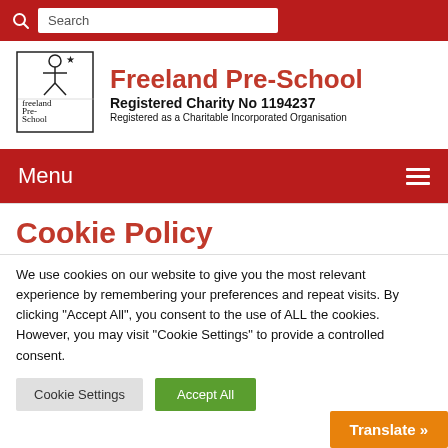Search
[Figure (logo): Freeland Pre-School hand-drawn logo with stick figure and text in a box]
Freeland Pre-School
Registered Charity No 1194237
Registered as a Charitable Incorporated Organisation
Menu
Cookie Policy
We use cookies on our website to give you the most relevant experience by remembering your preferences and repeat visits. By clicking "Accept All", you consent to the use of ALL the cookies. However, you may visit "Cookie Settings" to provide a controlled consent.
Cookie Settings  Accept All